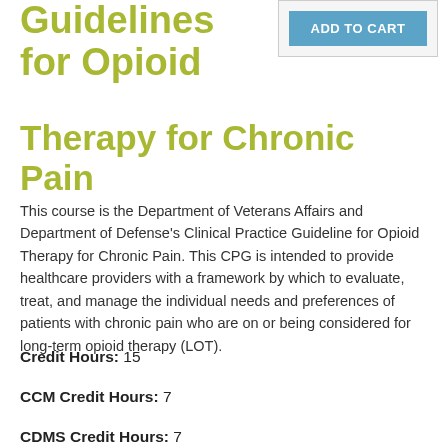Guidelines for Opioid Therapy for Chronic Pain
[Figure (other): ADD TO CART button in a bordered box]
This course is the Department of Veterans Affairs and Department of Defense's Clinical Practice Guideline for Opioid Therapy for Chronic Pain. This CPG is intended to provide healthcare providers with a framework by which to evaluate, treat, and manage the individual needs and preferences of patients with chronic pain who are on or being considered for long-term opioid therapy (LOT).
Credit Hours: 15
CCM Credit Hours: 7
CDMS Credit Hours: 7